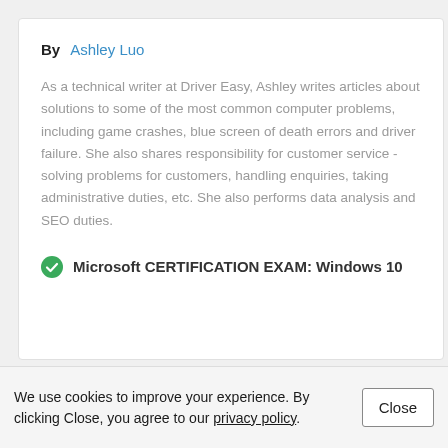By  Ashley Luo
As a technical writer at Driver Easy, Ashley writes articles about solutions to some of the most common computer problems, including game crashes, blue screen of death errors and driver failure. She also shares responsibility for customer service - solving problems for customers, handling enquiries, taking administrative duties, etc. She also performs data analysis and SEO duties.
Microsoft CERTIFICATION EXAM: Windows 10
We use cookies to improve your experience. By clicking Close, you agree to our privacy policy.